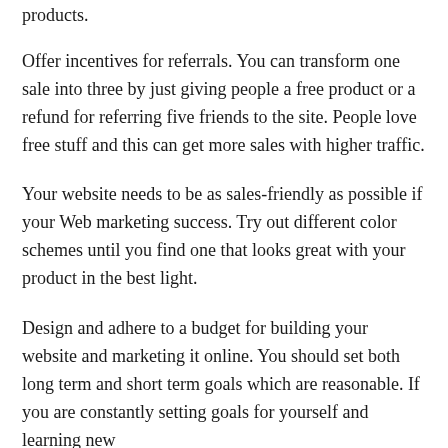products.
Offer incentives for referrals. You can transform one sale into three by just giving people a free product or a refund for referring five friends to the site. People love free stuff and this can get more sales with higher traffic.
Your website needs to be as sales-friendly as possible if your Web marketing success. Try out different color schemes until you find one that looks great with your product in the best light.
Design and adhere to a budget for building your website and marketing it online. You should set both long term and short term goals which are reasonable. If you are constantly setting goals for yourself and learning new